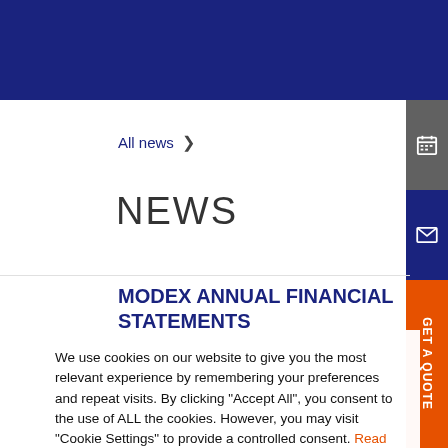All news >
NEWS
MODEX ANNUAL FINANCIAL STATEMENTS
We use cookies on our website to give you the most relevant experience by remembering your preferences and repeat visits. By clicking "Accept All", you consent to the use of ALL the cookies. However, you may visit "Cookie Settings" to provide a controlled consent. Read more
Cookie Settings    Accept All